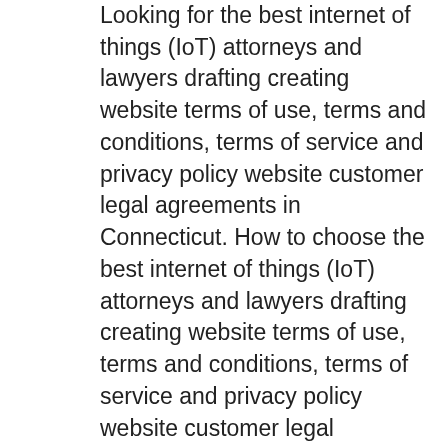Looking for the best internet of things (IoT) attorneys and lawyers drafting creating website terms of use, terms and conditions, terms of service and privacy policy website customer legal agreements in Connecticut. How to choose the best internet of things (IoT) attorneys and lawyers drafting creating website terms of use, terms and conditions, terms of service and privacy policy website customer legal agreements Connecticut How to pick the best internet of things (IoT) attorneys and lawyers drafting creating website terms of use, terms and conditions, terms of service and privacy policy website customer legal agreements Connecticut. Choosing the best internet of things (IoT) attorneys and lawyers drafting creating website terms of use, terms and conditions, terms of service and privacy policy